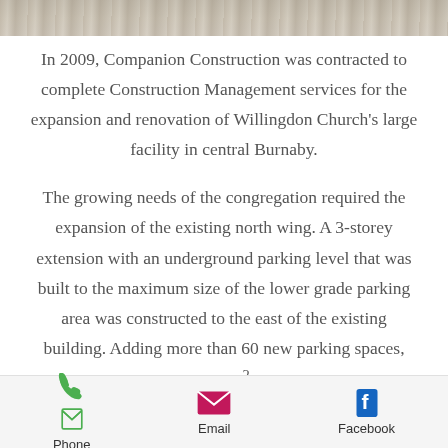[Figure (photo): Partial photo strip at the top of the page showing a building or construction scene]
In 2009, Companion Construction was contracted to complete Construction Management services for the expansion and renovation of Willingdon Church's large facility in central Burnaby.
The growing needs of the congregation required the expansion of the existing north wing. A 3-storey extension with an underground parking level that was built to the maximum size of the lower grade parking area was constructed to the east of the existing building. Adding more than 60 new parking spaces, 15,000 ft² of
Phone   Email   Facebook